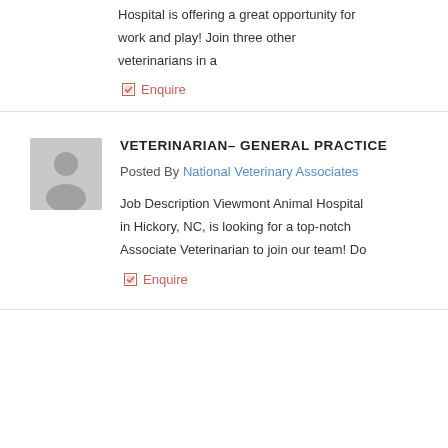Hospital is offering a great opportunity for work and play! Join three other veterinarians in a
Enquire
VETERINARIAN– GENERAL PRACTICE
Posted By National Veterinary Associates
Job Description Viewmont Animal Hospital in Hickory, NC, is looking for a top-notch Associate Veterinarian to join our team! Do
Enquire